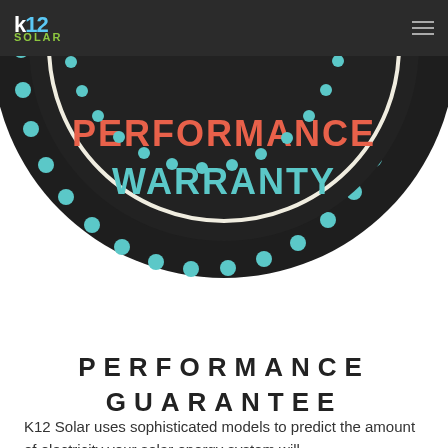K12 SOLAR
[Figure (illustration): Badge/seal illustration with dark circular design, teal dot border ring, inner white circle border, text 'PERFORMANCE WARRANTY' with 'PERFORMANCE' in coral/orange and 'WARRANTY' in teal, scalloped edge border with teal dots]
PERFORMANCE GUARANTEE
K12 Solar uses sophisticated models to predict the amount of electricity your solar energy system will